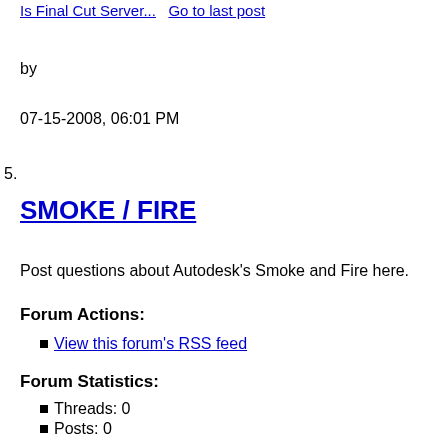Is Final Cut Server... Go to last post
by
07-15-2008, 06:01 PM
5.
SMOKE / FIRE
Post questions about Autodesk's Smoke and Fire here.
Forum Actions:
View this forum's RSS feed
Forum Statistics:
Threads: 0
Posts: 0
Last Post:
Never